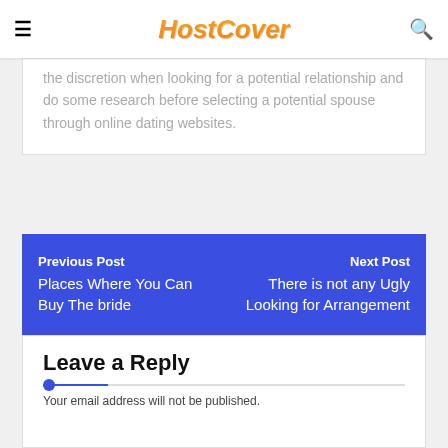HostCover
the discretion when looking for a potential relationship and do some research before selecting a potential spouse through online dating websites.
Previous Post Places Where You Can Buy The bride | Next Post There is not any Ugly Looking for Arrangement
Leave a Reply
Your email address will not be published.